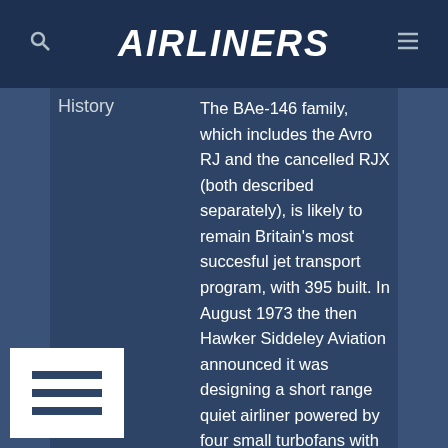AIRLINERS
History
The BAe-146 family, which includes the Avro RJ and the cancelled RJX (both described separately), is likely to remain Britain's most succesful jet transport program, with 395 built. In August 1973 the then Hawker Siddeley Aviation announced it was designing a short range quiet airliner powered by four small turbofans with British government financial aid. Under the designation HS-146, large scale development lasted just a few months before a worsening economic recession made the risk of the project seem unjustifiable. Development then continued on a limited scale, but it was not until July 1978 that the project was officially relaunched, by which time Hawker Siddeley had been absorbed into the newly created British Aerospace. The resulting BAe-146-100 made its first flight on September 3 1981. Certification was granted in early 1983 with first deliveries following shortly afterwards in May 1983. A VIP version was offered as the